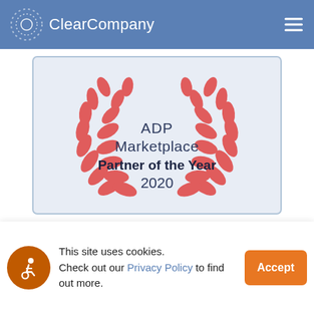ClearCompany
[Figure (illustration): ADP Marketplace Partner of the Year 2020 award badge with red laurel wreaths on blue-grey background]
This site uses cookies. Check out our Privacy Policy to find out more.